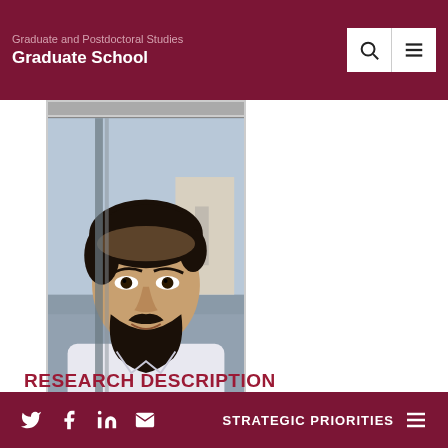Graduate and Postdoctoral Studies
Graduate School
[Figure (photo): Portrait photo of a young man with dark hair and beard, wearing a white shirt, close-up face shot outdoors]
RESEARCH DESCRIPTION
Most refugees resettled in North America and Europe come
Twitter, Facebook, LinkedIn, Email icons | STRATEGIC PRIORITIES